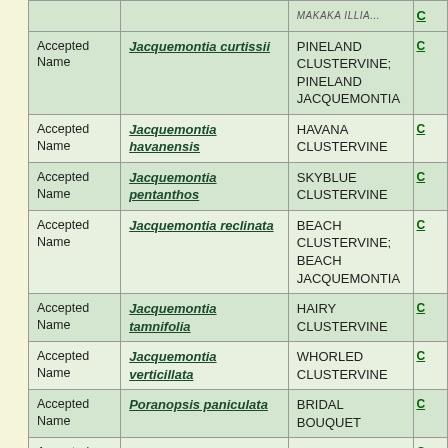| Type | Scientific Name | Common Name |  |
| --- | --- | --- | --- |
| Accepted Name | Jacquemontia curtissii | PINELAND CLUSTERVINE; PINELAND JACQUEMONTIA | C |
| Accepted Name | Jacquemontia havanensis | HAVANA CLUSTERVINE | C |
| Accepted Name | Jacquemontia pentanthos | SKYBLUE CLUSTERVINE | C |
| Accepted Name | Jacquemontia reclinata | BEACH CLUSTERVINE; BEACH JACQUEMONTIA | C |
| Accepted Name | Jacquemontia tamnifolia | HAIRY CLUSTERVINE | C |
| Accepted Name | Jacquemontia verticillata | WHORLED CLUSTERVINE | C |
| Accepted Name | Poranopsis paniculata | BRIDAL BOUQUET | C |
| Accepted Name | Stylisma abdita | SHOWY DAWNFLOWER; HIDDEN STYLISMA; | C |